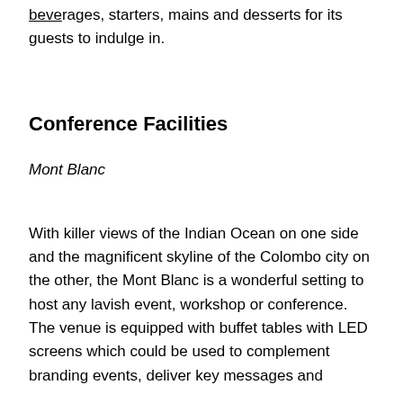beverages, starters, mains and desserts for its guests to indulge in.
Conference Facilities
Mont Blanc
With killer views of the Indian Ocean on one side and the magnificent skyline of the Colombo city on the other, the Mont Blanc is a wonderful setting to host any lavish event, workshop or conference. The venue is equipped with buffet tables with LED screens which could be used to complement branding events, deliver key messages and